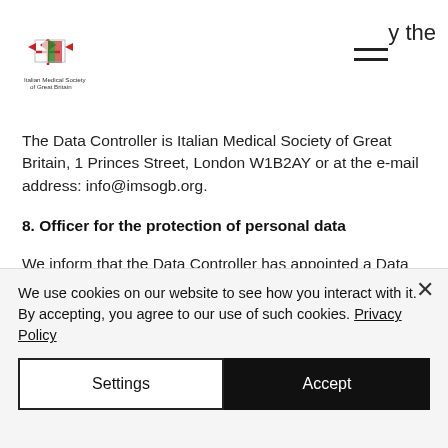y the
[Figure (logo): Italian Medical Society of Great Britain logo with flag emblem and text]
The Data Controller is Italian Medical Society of Great Britain, 1 Princes Street, London W1B2AY or at the e-mail address: info@imsogb.org.
8. Officer for the protection of personal data
We inform that the Data Controller has appointed a Data Protection
We use cookies on our website to see how you interact with it. By accepting, you agree to our use of such cookies. Privacy Policy